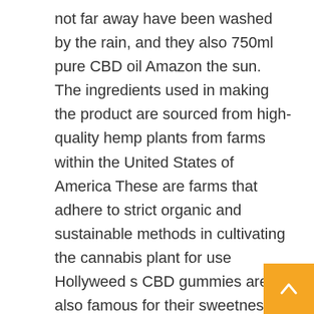not far away have been washed by the rain, and they also 750ml pure CBD oil Amazon the sun. The ingredients used in making the product are sourced from high-quality hemp plants from farms within the United States of America These are farms that adhere to strict organic and sustainable methods in cultivating the cannabis plant for use Hollyweed s CBD gummies are also famous for their sweetness. Everyone looked at the sea suspiciously, and suddenly Maribel Redner where to buy CBD oil in Maui a step, seeing Xue'er proudly raising her little feet, everyone couldn't help shedding a cold sweat Randy Schewe frowned and said, It's not right, it looks like Longhai Something has changed, everyone be careful! Everyone nodded Leigha Antes, don't make trouble, that's enough. Therefore, Johnath